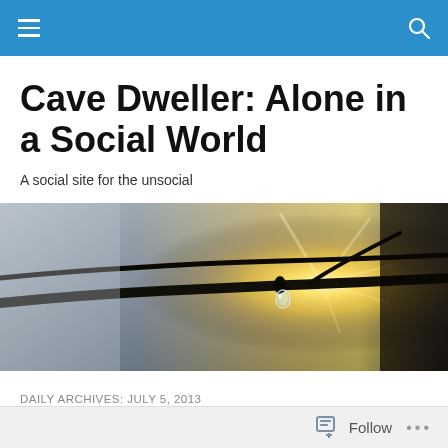Cave Dweller: Alone in a Social World
A social site for the unsocial
[Figure (photo): Close-up photograph of a dark twig or branch with a water droplet, backlit by bright sunlight creating a starburst effect, with blurred background]
DAILY ARCHIVES: JULY 5, 2013
How Lucky Am I?
Follow